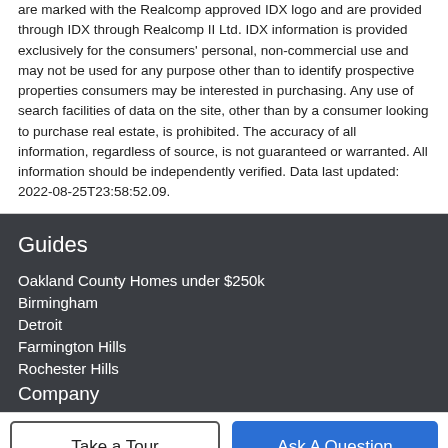are marked with the Realcomp approved IDX logo and are provided through IDX through Realcomp II Ltd. IDX information is provided exclusively for the consumers' personal, non-commercial use and may not be used for any purpose other than to identify prospective properties consumers may be interested in purchasing. Any use of search facilities of data on the site, other than by a consumer looking to purchase real estate, is prohibited. The accuracy of all information, regardless of source, is not guaranteed or warranted. All information should be independently verified. Data last updated: 2022-08-25T23:58:52.09.
Guides
Oakland County Homes under $250k
Birmingham
Detroit
Farmington Hills
Rochester Hills
Company